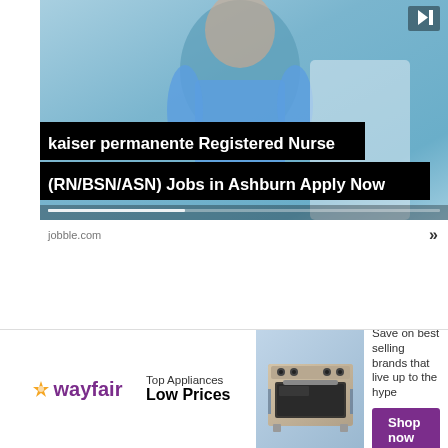[Figure (screenshot): Video advertisement thumbnail showing a medical professional (nurse in blue scrubs) with a black overlay text bar reading 'kaiser permanente Registered Nurse (RN/BSN/ASN) Jobs in Ashburn Apply Now' and a video progress bar at the bottom]
jobble.com
[Figure (screenshot): Wayfair banner advertisement. Logo on left, 'Top Appliances Low Prices' text, image of a stainless steel range/stove in center, and 'Save on best selling brands that live up to the hype' with purple 'Shop now' button on right]